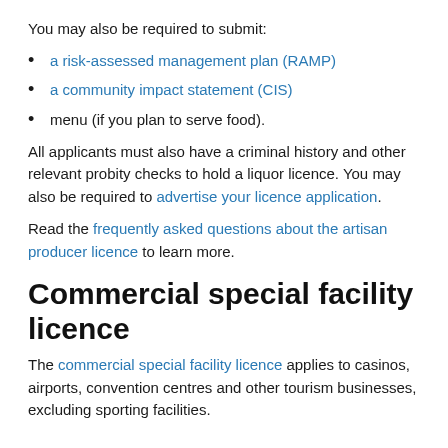You may also be required to submit:
a risk-assessed management plan (RAMP)
a community impact statement (CIS)
menu (if you plan to serve food).
All applicants must also have a criminal history and other relevant probity checks to hold a liquor licence. You may also be required to advertise your licence application.
Read the frequently asked questions about the artisan producer licence to learn more.
Commercial special facility licence
The commercial special facility licence applies to casinos, airports, convention centres and other tourism businesses, excluding sporting facilities.